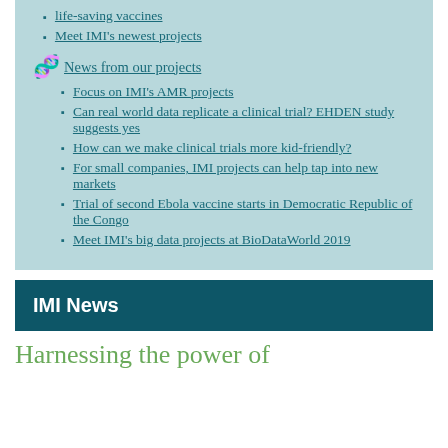life-saving vaccines
Meet IMI's newest projects
News from our projects
Focus on IMI's AMR projects
Can real world data replicate a clinical trial? EHDEN study suggests yes
How can we make clinical trials more kid-friendly?
For small companies, IMI projects can help tap into new markets
Trial of second Ebola vaccine starts in Democratic Republic of the Congo
Meet IMI's big data projects at BioDataWorld 2019
IMI News
Harnessing the power of